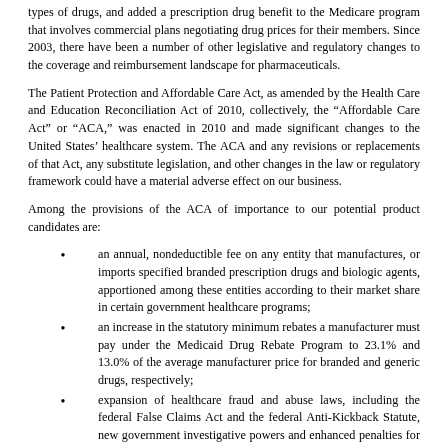types of drugs, and added a prescription drug benefit to the Medicare program that involves commercial plans negotiating drug prices for their members. Since 2003, there have been a number of other legislative and regulatory changes to the coverage and reimbursement landscape for pharmaceuticals.
The Patient Protection and Affordable Care Act, as amended by the Health Care and Education Reconciliation Act of 2010, collectively, the “Affordable Care Act” or “ACA,” was enacted in 2010 and made significant changes to the United States’ healthcare system. The ACA and any revisions or replacements of that Act, any substitute legislation, and other changes in the law or regulatory framework could have a material adverse effect on our business.
Among the provisions of the ACA of importance to our potential product candidates are:
an annual, nondeductible fee on any entity that manufactures, or imports specified branded prescription drugs and biologic agents, apportioned among these entities according to their market share in certain government healthcare programs;
an increase in the statutory minimum rebates a manufacturer must pay under the Medicaid Drug Rebate Program to 23.1% and 13.0% of the average manufacturer price for branded and generic drugs, respectively;
expansion of healthcare fraud and abuse laws, including the federal False Claims Act and the federal Anti-Kickback Statute, new government investigative powers and enhanced penalties for non-compliance;
a new Medicare Part D coverage gap discount program, in